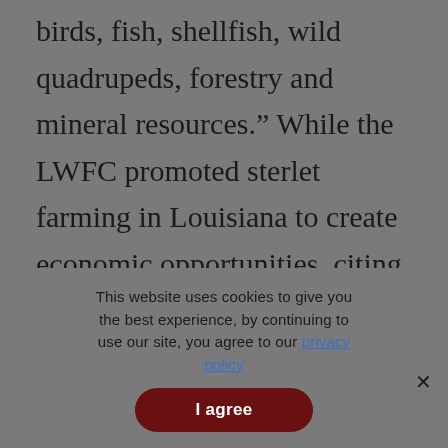birds, fish, shellfish, wild quadrupeds, forestry and mineral resources.” While the LWFC promoted sterlet farming in Louisiana to create economic opportunities, citing caviar production as a boon to the seafood industry, this interest may conflict
This website uses cookies to give you the best experience, by continuing to use our site, you agree to our privacy policy